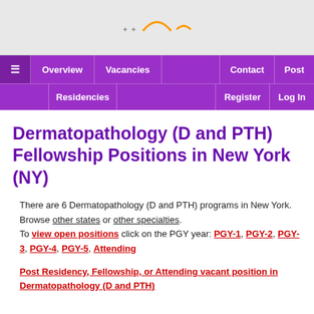[Figure (screenshot): Browser top chrome area with partial logo/icons visible]
≡  Overview  Vacancies  Contact  Post  Residencies  Register  Log In
Dermatopathology (D and PTH) Fellowship Positions in New York (NY)
There are 6 Dermatopathology (D and PTH) programs in New York. Browse other states or other specialties. To view open positions click on the PGY year: PGY-1, PGY-2, PGY-3, PGY-4, PGY-5, Attending
Post Residency, Fellowship, or Attending vacant position in Dermatopathology (D and PTH)